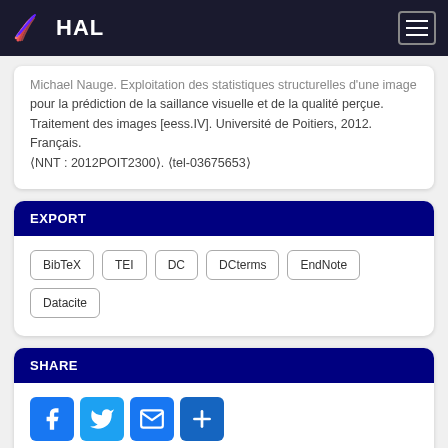HAL
Michael Nauge. Exploitation des statistiques structurelles d'une image pour la prédiction de la saillance visuelle et de la qualité perçue. Traitement des images [eess.IV]. Université de Poitiers, 2012. Français. ⟨NNT : 2012POIT2300⟩. ⟨tel-03675653⟩
EXPORT
BibTeX
TEI
DC
DCterms
EndNote
Datacite
SHARE
METRICS